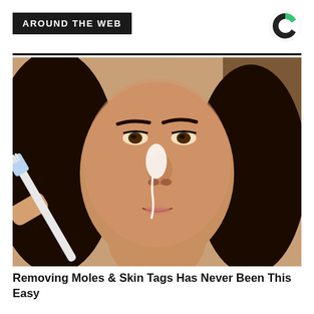AROUND THE WEB
[Figure (photo): A woman with dark hair applying something white to the side of her nose using a toothbrush or similar applicator tool. Close-up beauty/skincare tutorial photo.]
Removing Moles & Skin Tags Has Never Been This Easy